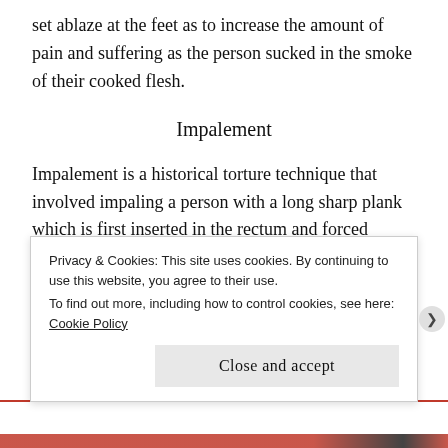set ablaze at the feet as to increase the amount of pain and suffering as the person sucked in the smoke of their cooked flesh.
Impalement
Impalement is a historical torture technique that involved impaling a person with a long sharp plank which is first inserted in the rectum and forced through the person until the plank exits through the persons mouth. It has been documented that some victims took 2-3 days to die during this excruciating
Privacy & Cookies: This site uses cookies. By continuing to use this website, you agree to their use.
To find out more, including how to control cookies, see here: Cookie Policy
Close and accept